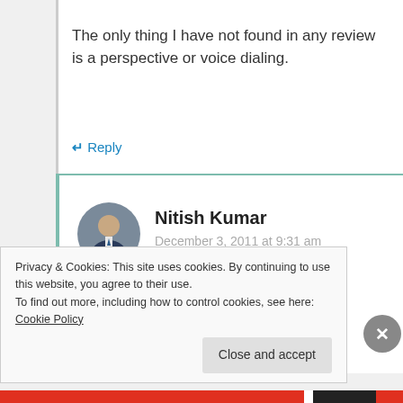The only thing I have not found in any review is a perspective or voice dialing.
↵ Reply
[Figure (photo): Circular avatar photo of Nitish Kumar, a man in a suit]
Nitish Kumar
December 3, 2011 at 9:31 am
Privacy & Cookies: This site uses cookies. By continuing to use this website, you agree to their use.
To find out more, including how to control cookies, see here: Cookie Policy
Close and accept